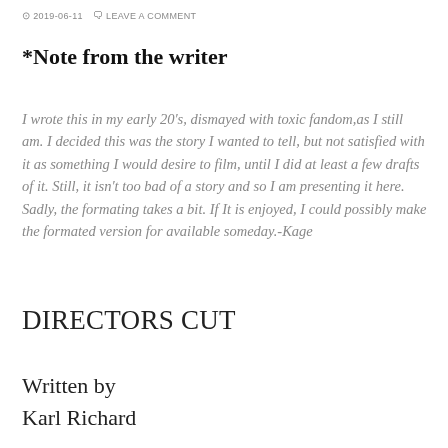2019-06-11  LEAVE A COMMENT
*Note from the writer
I wrote this in my early 20's, dismayed with toxic fandom,as I still am. I decided this was the story I wanted to tell, but not satisfied with it as something I would desire to film, until I did at least a few drafts of it. Still, it isn't too bad of a story and so I am presenting it here. Sadly, the formating takes a hit. If It is enjoyed, I could possibly make the formated version for available someday.-Kage
DIRECTORS CUT
Written by
Karl Richard